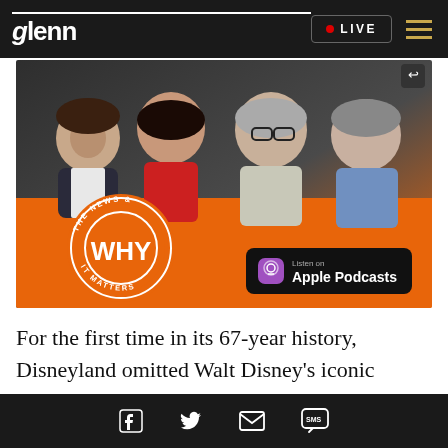glenn | LIVE
[Figure (illustration): The News & Why It Matters podcast promotional image showing four hosts (two men, two women) with an orange circular WHY logo and Apple Podcasts badge]
For the first time in its 67-year history, Disneyland omitted Walt Disney's iconic opening day speech from its anniversary celebration, leaving fans to
Social share buttons: Facebook, Twitter, Email, SMS